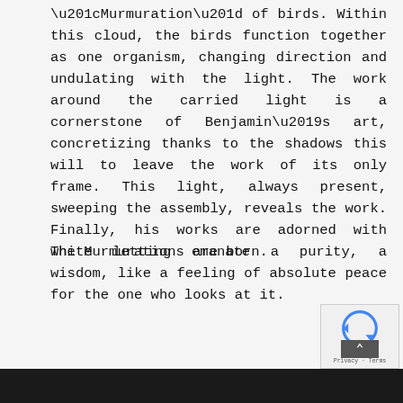“Murmuration” of birds. Within this cloud, the birds function together as one organism, changing direction and undulating with the light. The work around the carried light is a cornerstone of Benjamin’s art, concretizing thanks to the shadows this will to leave the work of its only frame. This light, always present, sweeping the assembly, reveals the work. Finally, his works are adorned with white letting emanate a purity, a wisdom, like a feeling of absolute peace for the one who looks at it.
The Murmurations are born.